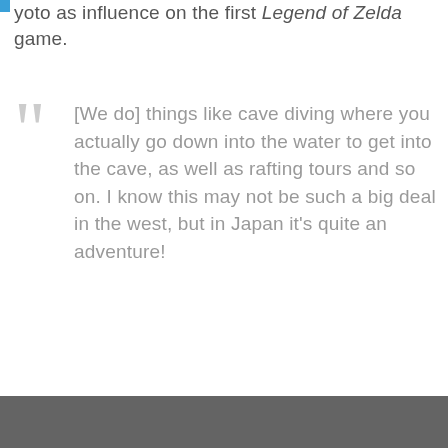yoto as influence on the first Legend of Zelda game.
[We do] things like cave diving where you actually go down into the water to get into the cave, as well as rafting tours and so on. I know this may not be such a big deal in the west, but in Japan it's quite an adventure!